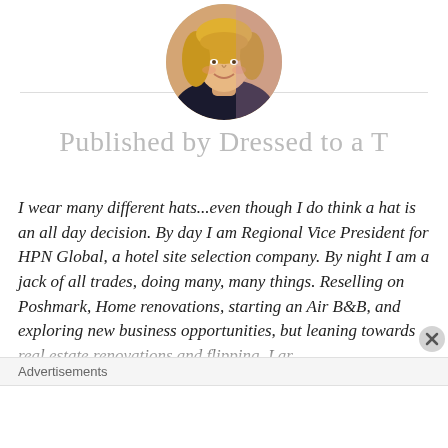[Figure (photo): Circular avatar photo of a smiling blonde woman]
Published by Dressed to a T
I wear many different hats...even though I do think a hat is an all day decision. By day I am Regional Vice President for HPN Global, a hotel site selection company. By night I am a jack of all trades, doing many, many things. Reselling on Poshmark, Home renovations, starting an Air B&B, and exploring new business opportunities, but leaning towards real estate renovations and flipping. I ar
Advertisements